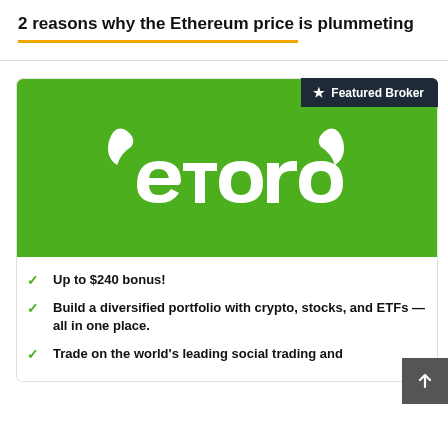2 reasons why the Ethereum price is plummeting
[Figure (logo): eToro green logo with bull horns and 'etoro' text in white on green background]
Up to $240 bonus!
Build a diversified portfolio with crypto, stocks, and ETFs — all in one place.
Trade on the world's leading social trading and